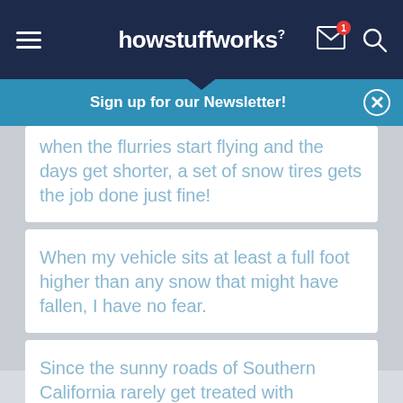howstuffworks
Sign up for our Newsletter!
When the flurries start flying and the days get shorter, a set of snow tires gets the job done just fine!
When my vehicle sits at least a full foot higher than any snow that might have fallen, I have no fear.
Since the sunny roads of Southern California rarely get treated with